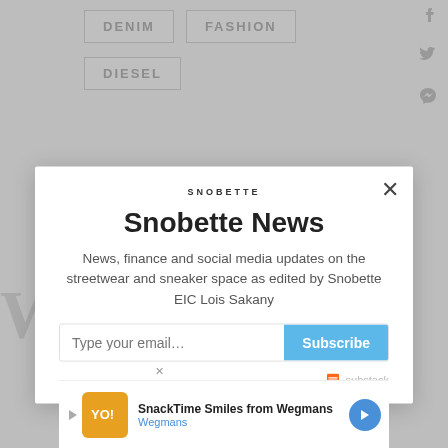[Figure (screenshot): Background webpage showing navigation menu buttons for DENIM, FASHION, DIESEL categories and social media icons (Facebook, Twitter, Pinterest) on the right side]
[Figure (screenshot): Modal popup newsletter signup for Snobette News with logo, title, description text, email input field with Subscribe button, and Substack branding]
Snobette News
News, finance and social media updates on the streetwear and sneaker space as edited by Snobette EIC Lois Sakany
[Figure (screenshot): Advertisement bar at bottom: SnackTime Smiles from Wegmans ad with Wegmans branding and navigation arrow]